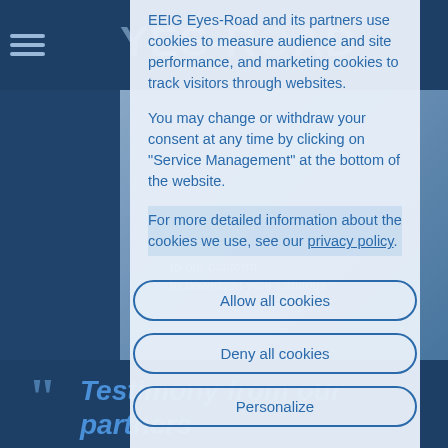[Figure (screenshot): Background of a website for EEIG Eyes-Road with navigation bar, YES-ROAD logo, blue-tinted background image, and partial page content visible behind a cookie consent modal dialog.]
EEIG Eyes-Road and its partners use cookies to measure audience and site performance, and marketing cookies to track visitors through websites.
You may change or withdraw your consent at any time by clicking on "Service Management" at the bottom of the website.
For more detailed information about the cookies we use, see our privacy policy.
Allow all cookies
Deny all cookies
Personalize